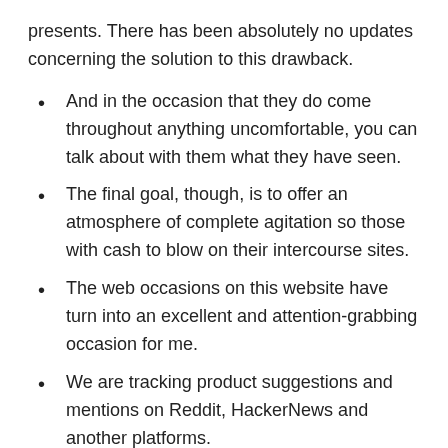presents. There has been absolutely no updates concerning the solution to this drawback.
And in the occasion that they do come throughout anything uncomfortable, you can talk about with them what they have seen.
The final goal, though, is to offer an atmosphere of complete agitation so those with cash to blow on their intercourse sites.
The web occasions on this website have turn into an excellent and attention-grabbing occasion for me.
We are tracking product suggestions and mentions on Reddit, HackerNews and another platforms.
However, you can attempt the trial interval to seek out out the pros and cons of this chat. Moreover, you can start chatting for free, altering totally different chat rooms many instances. You don't have to reveal your identification, as nicely as present